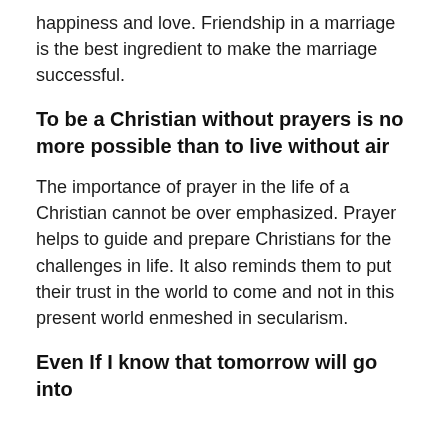happiness and love. Friendship in a marriage is the best ingredient to make the marriage successful.
To be a Christian without prayers is no more possible than to live without air
The importance of prayer in the life of a Christian cannot be over emphasized. Prayer helps to guide and prepare Christians for the challenges in life. It also reminds them to put their trust in the world to come and not in this present world enmeshed in secularism.
Even If I know that tomorrow will go into